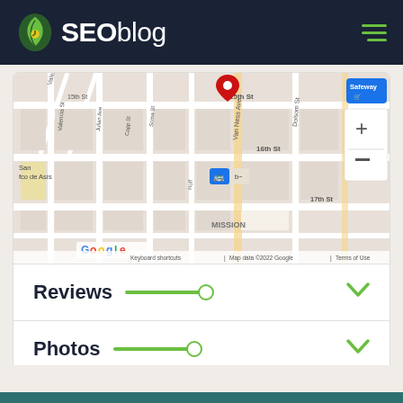SEOblog
[Figure (map): Google Maps screenshot showing Mission District, San Francisco around 15th St and Van Ness Ave area with a red pin marker, Safeway store marker, transit icons, zoom controls (+/-), and Google branding with copyright notice: 'Keyboard shortcuts | Map data ©2022 Google | Terms of Use']
Reviews
Photos